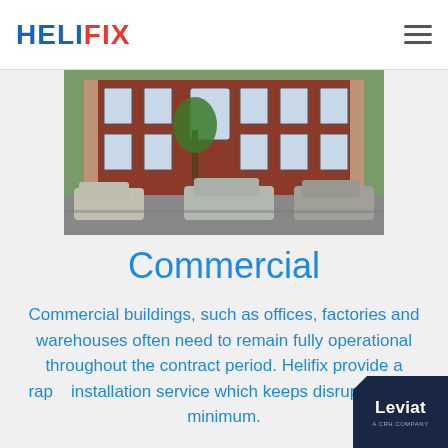HELIFIX
[Figure (photo): Exterior photograph of a red brick commercial building with cars parked on the street in front and a tree visible]
Commercial
Commercial buildings, such as offices, factories and warehouses often need to remain fully operational throughout the contract period. Helifix provide a rapid installation service which keeps disruption to a minimum.